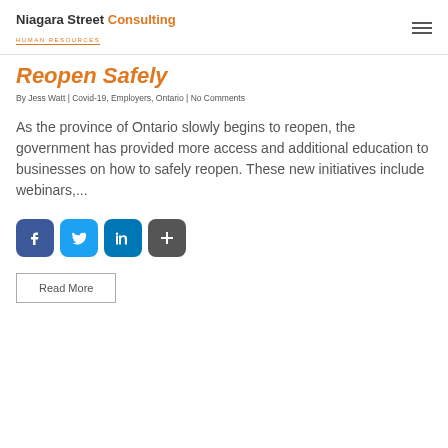Niagara Street Consulting Human Resources
Reopen Safely
By Jess Watt | Covid-19, Employers, Ontario | No Comments
As the province of Ontario slowly begins to reopen, the government has provided more access and additional education to businesses on how to safely reopen. These new initiatives include webinars,...
[Figure (other): Social share buttons: Facebook, Twitter, LinkedIn, Share (plus icon)]
Read More